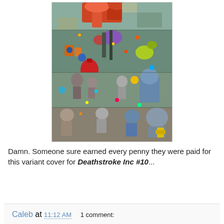[Figure (illustration): A densely detailed comic book variant cover illustration showing a chaotic, crowded scene filled with numerous characters, objects, robots, and colorful elements packed tightly together in an intricate composition]
Damn. Someone sure earned every penny they were paid for this variant cover for Deathstroke Inc #10...
Caleb at 11:12 AM    1 comment: